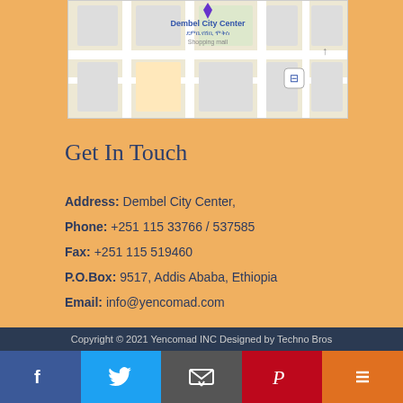[Figure (map): Google Maps screenshot showing Dembel City Center shopping mall location in Addis Ababa, Ethiopia]
Get In Touch
Address: Dembel City Center, Phone: +251 115 33766 / 537585 Fax: +251 115 519460 P.O.Box: 9517, Addis Ababa, Ethiopia Email: info@yencomad.com
Copyright © 2021 Yencomad INC Designed by Techno Bros